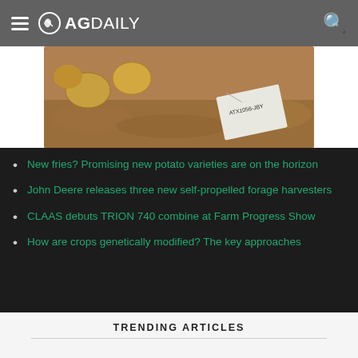AG DAILY
[Figure (photo): Photo of potatoes on soil with a label/tag visible]
New fries? Promising new potato varieties are on the horizon
John Deere releases three new self-propelled forage harvesters
CLAAS debuts TRION 740 combine at Farm Progress Show
How are crops genetically modified? The key approaches
TRENDING ARTICLES
[Figure (photo): Photo of dairy cows in a barn]
Prairie Farms launches series on the truths of dairy farming